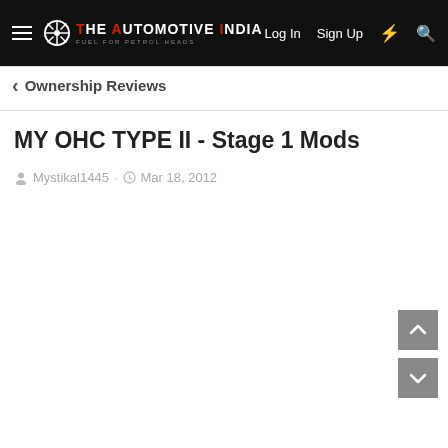THE AUTOMOTIVE INDIA — Log In  Sign Up
Ownership Reviews
MY OHC TYPE II - Stage 1 Mods
Mystikal1445 · Mar 18, 2012